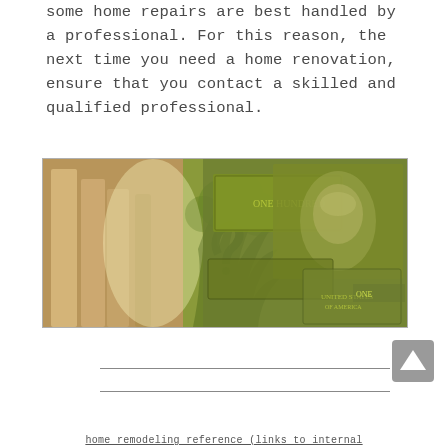some home repairs are best handled by a professional. For this reason, the next time you need a home renovation, ensure that you contact a skilled and qualified professional.
[Figure (photo): Composite image showing classical columns on the left with a decorative tree silhouette overlaid on US dollar bills and a portrait of Benjamin Franklin from a $100 bill, with green tones throughout.]
home remodeling reference (links to internal